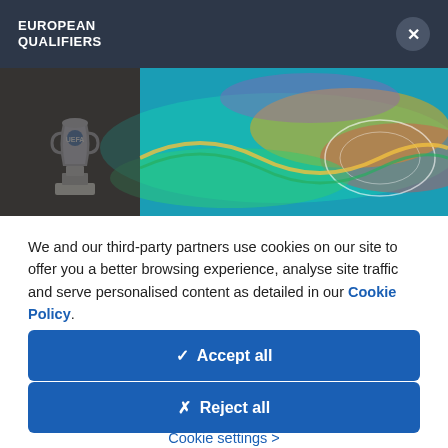EUROPEAN QUALIFIERS
[Figure (photo): Photo of European Qualifiers trophy on a pedestal with a colorful UEFA EURO 2020 branded mural backdrop in teal, green, orange and red colors]
We and our third-party partners use cookies on our site to offer you a better browsing experience, analyse site traffic and serve personalised content as detailed in our Cookie Policy.
✓  Accept all
✗  Reject all
Cookie settings >